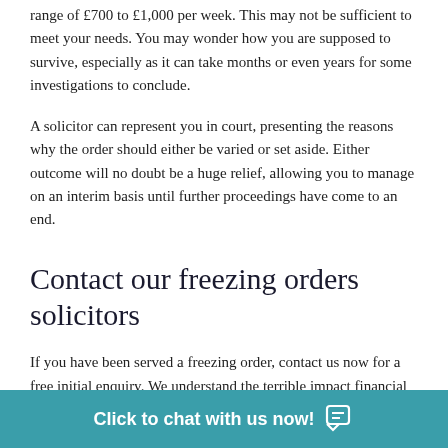range of £700 to £1,000 per week. This may not be sufficient to meet your needs. You may wonder how you are supposed to survive, especially as it can take months or even years for some investigations to conclude.
A solicitor can represent you in court, presenting the reasons why the order should either be varied or set aside. Either outcome will no doubt be a huge relief, allowing you to manage on an interim basis until further proceedings have come to an end.
Contact our freezing orders solicitors
If you have been served a freezing order, contact us now for a free initial enquiry. We understand the terrible impact financial restrictions can have on your life. We will provide expert legal advice as to how best to handle the situation. Responding to a freezing order requires immediate attention and we will apply our legal...